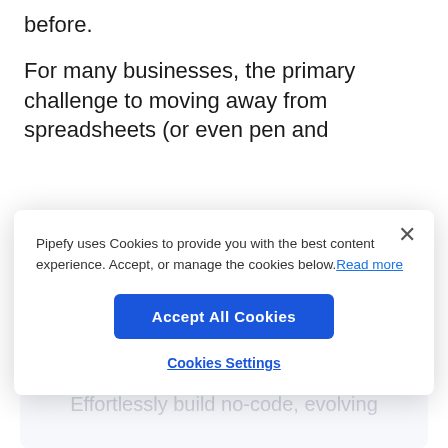before.
For many businesses, the primary challenge to moving away from spreadsheets (or even pen and
Pipefy uses Cookies to provide you with the best content experience. Accept, or manage the cookies below. Read more
Accept All Cookies
Cookies Settings
to build CRM processes that evolve with their needs.
Effortlessly build no-code, evolving